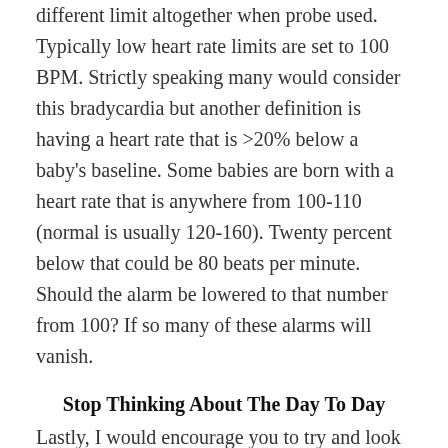different limit altogether when probe used. Typically low heart rate limits are set to 100 BPM. Strictly speaking many would consider this bradycardia but another definition is having a heart rate that is >20% below a baby's baseline. Some babies are born with a heart rate that is anywhere from 100-110 (normal is usually 120-160). Twenty percent below that could be 80 beats per minute. Should the alarm be lowered to that number from 100? If so many of these alarms will vanish.
Stop Thinking About The Day To Day
Lastly, I would encourage you to try and look at your baby's progress every few days. The journey through the NICU has many ups and downs. It really is no different than a figure showing the stock market over the last many years. Individual days have their ups and downs but it is the trend over many days